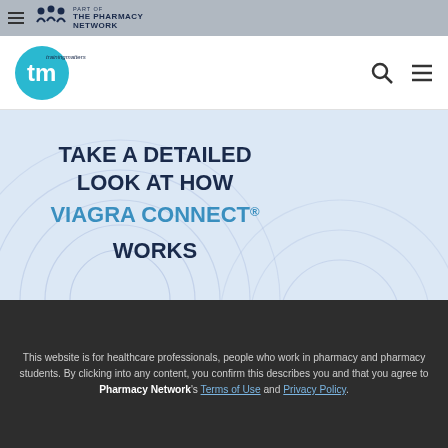PART OF THE PHARMACY NETWORK
[Figure (logo): Training Matters (tm) logo with cyan circle and white 'tm' text]
[Figure (illustration): Light blue banner image with decorative concentric circle patterns and bold text: TAKE A DETAILED LOOK AT HOW VIAGRA CONNECT® WORKS]
This website is for healthcare professionals, people who work in pharmacy and pharmacy students. By clicking into any content, you confirm this describes you and that you agree to Pharmacy Network's Terms of Use and Privacy Policy.